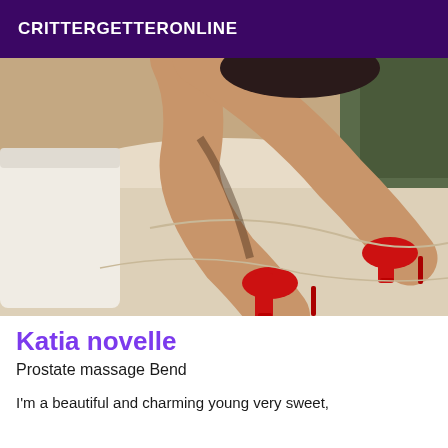CRITTERGETTERONLINE
[Figure (photo): A person kneeling on a bed wearing red high heels, photographed from behind/side]
Katia novelle
Prostate massage Bend
I'm a beautiful and charming young very sweet,